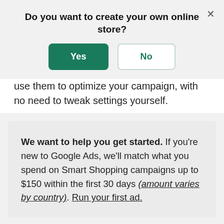Do you want to create your own online store?
[Figure (screenshot): Dialog with Yes (green) and No (outlined) buttons, and an X close button]
use them to optimize your campaign, with no need to tweak settings yourself.
We want to help you get started. If you're new to Google Ads, we'll match what you spend on Smart Shopping campaigns up to $150 within the first 30 days (amount varies by country). Run your first ad.